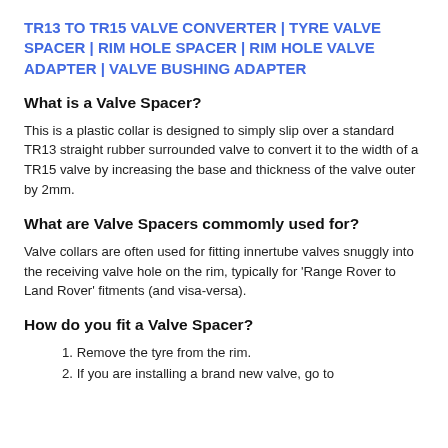TR13 TO TR15 VALVE CONVERTER | TYRE VALVE SPACER | RIM HOLE SPACER | RIM HOLE VALVE ADAPTER | VALVE BUSHING ADAPTER
What is a Valve Spacer?
This is a plastic collar is designed to simply slip over a standard TR13 straight rubber surrounded valve to convert it to the width of a TR15 valve by increasing the base and thickness of the valve outer by 2mm.
What are Valve Spacers commomly used for?
Valve collars are often used for fitting innertube valves snuggly into the receiving valve hole on the rim, typically for 'Range Rover to Land Rover' fitments (and visa-versa).
How do you fit a Valve Spacer?
1. Remove the tyre from the rim.
2. If you are installing a brand new valve, go to...